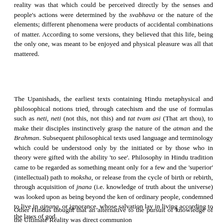reality was that which could be perceived directly by the senses and people's actions were determined by the svabhava or the nature of the elements; different phenomena were products of accidental combinations of matter. According to some versions, they believed that this life, being the only one, was meant to be enjoyed and physical pleasure was all that mattered.
The Upanishads, the earliest texts containing Hindu metaphysical and philosophical notions tried, through catechism and the use of formulas such as neti, neti (not this, not this) and tat tvam asi (That art thou), to make their disciples instinctively grasp the nature of the atman and the Brahman. Subsequent philosophical texts used language and terminology which could be understood only by the initiated or by those who in theory were gifted with the ability 'to see'. Philosophy in Hindu tradition came to be regarded as something meant only for a few and the 'superior' (intellectual) path to moksha, or release from the cycle of birth or rebirth, through acquisition of jnana (i.e. knowledge of truth about the universe) was looked upon as being beyond the ken of ordinary people, condemned to live in ajnana, or ignorance, whose salvation lay in living according to the laws of god.
Other Hindus thought that an alternative to the pursuit of knowledge of the Ultimate Reality was direct communion